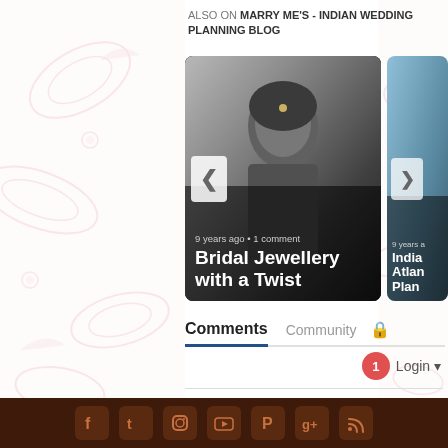ALSO ON MARRY ME'S - INDIAN WEDDING PLANNING BLOG
[Figure (photo): Carousel showing two blog post cards. First card: black and white photo of an Indian bride wearing jewellery, with overlay text '9 years ago • 1 comment' and title 'Bridal Jewellery with a Twist'. Second card (partially visible): photo with blue tones, partial overlay text '9 years a' and 'India Atlan Plan'. Navigation arrows on left (‹) and right (›).]
Comments
Community
1  Login ▾
♡ Favorite
Sort by Best ▾
Social media icons: Facebook, Twitter, Instagram, YouTube, Pinterest, Google+, RSS